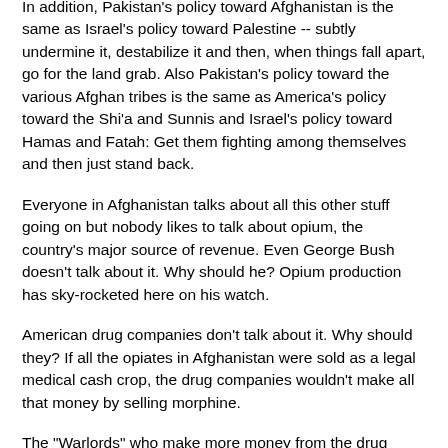In addition, Pakistan's policy toward Afghanistan is the same as Israel's policy toward Palestine -- subtly undermine it, destabilize it and then, when things fall apart, go for the land grab. Also Pakistan's policy toward the various Afghan tribes is the same as America's policy toward the Shi'a and Sunnis and Israel's policy toward Hamas and Fatah: Get them fighting among themselves and then just stand back.
Everyone in Afghanistan talks about all this other stuff going on but nobody likes to talk about opium, the country's major source of revenue. Even George Bush doesn't talk about it. Why should he? Opium production has sky-rocketed here on his watch.
American drug companies don't talk about it. Why should they? If all the opiates in Afghanistan were sold as a legal medical cash crop, the drug companies wouldn't make all that money by selling morphine.
The "Warlords" who make more money from the drug trade than you or I will ever see in a lifetime even if we won the lottery once a week for a month -- they definitely don't talk about it. There are too many important people involved...